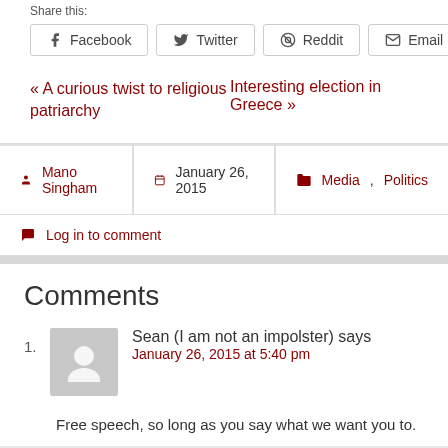Share this:
Facebook   Twitter   Reddit   Email
« A curious twist to religious patriarchy
Interesting election in Greece »
Mano Singham   January 26, 2015   Media, Politics
Log in to comment
Comments
Sean (I am not an impolster) says
January 26, 2015 at 5:40 pm
Free speech, so long as you say what we want you to.